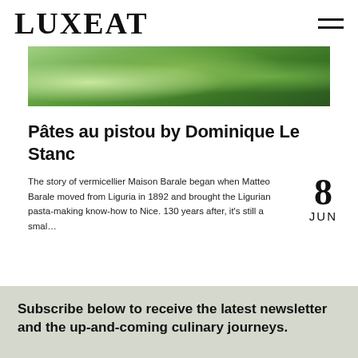LUXEAT
[Figure (photo): Close-up of green herbs or pasta with basil leaves, top portion cropped]
Pâtes au pistou by Dominique Le Stanc
The story of vermicellier Maison Barale began when Matteo Barale moved from Liguria in 1892 and brought the Ligurian pasta-making know-how to Nice. 130 years after, it's still a smal…
8 JUN
Subscribe below to receive the latest newsletter and the up-and-coming culinary journeys.